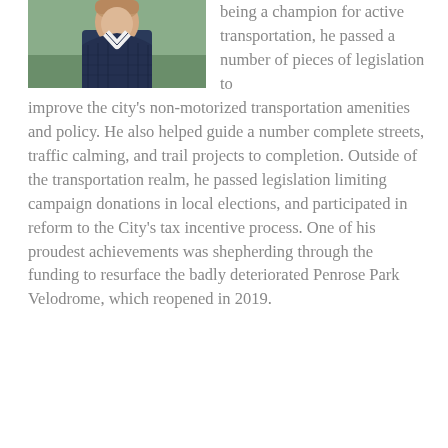[Figure (photo): Portrait photo of a man in a dark jacket and white shirt, outdoors background]
being a champion for active transportation, he passed a number of pieces of legislation to improve the city's non-motorized transportation amenities and policy. He also helped guide a number complete streets, traffic calming, and trail projects to completion. Outside of the transportation realm, he passed legislation limiting campaign donations in local elections, and participated in reform to the City's tax incentive process. One of his proudest achievements was shepherding through the funding to resurface the badly deteriorated Penrose Park Velodrome, which reopened in 2019.